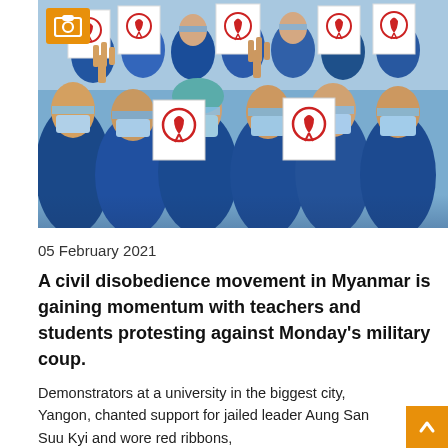[Figure (photo): Large crowd of people wearing blue uniforms and face masks holding up white signs/papers with red ribbon symbols and making three-finger salute gestures, protesting against Myanmar military coup]
05 February 2021
A civil disobedience movement in Myanmar is gaining momentum with teachers and students protesting against Monday's military coup.
Demonstrators at a university in the biggest city, Yangon, chanted support for jailed leader Aung San Suu Kyi and wore red ribbons, known to be Ms Suu Kyi's symbol, the demonstrations also had...